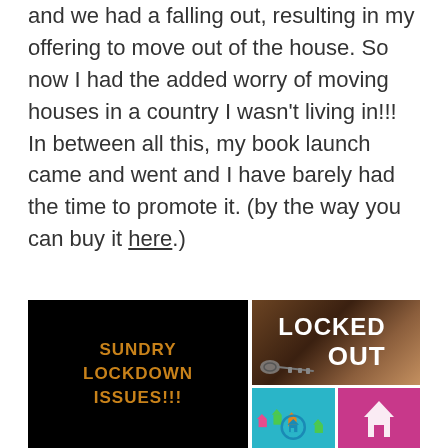and we had a falling out, resulting in my offering to move out of the house. So now I had the added worry of moving houses in a country I wasn't living in!!! In between all this, my book launch came and went and I have barely had the time to promote it. (by the way you can buy it here.)
[Figure (photo): A 2x2 collage of images: top-left black background with gold/orange text 'SUNDRY LOCKDOWN ISSUES!!!'; top-right photo of keys on a floor with bold white text 'LOCKED OUT'; bottom-left teal background with house icons in a circle; bottom-right magenta/pink background with white house icon. Partially visible at bottom left is a red-toned image.]